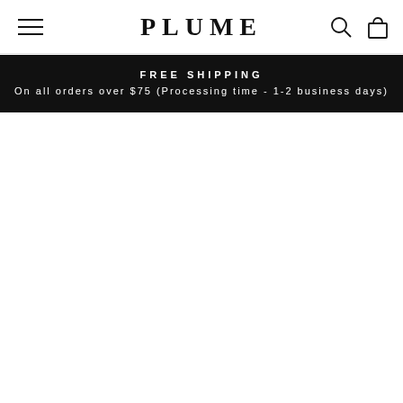PLUME
FREE SHIPPING
On all orders over $75 (Processing time - 1-2 business days)